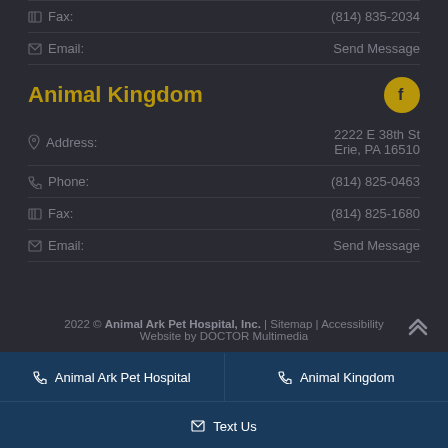Fax: (814) 835-2034
Email: Send Message
Animal Kingdom
Address: 2222 E 38th St Erie, PA 16510
Phone: (814) 825-0463
Fax: (814) 825-1680
Email: Send Message
2022 © Animal Ark Pet Hospital, Inc. | Sitemap | Accessibility Website by DOCTOR Multimedia
Animal Ark Pet Hospital
Animal Kingdom
Text Us